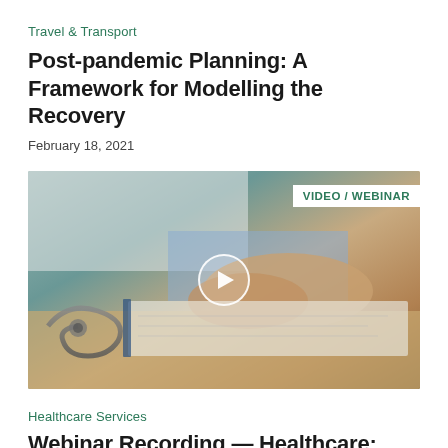Travel & Transport
Post-pandemic Planning: A Framework for Modelling the Recovery
February 18, 2021
[Figure (photo): Photo of a person in a white coat with hands clasped over documents on a desk; a stethoscope visible in the foreground. Overlaid with a VIDEO / WEBINAR badge and a play button circle.]
Healthcare Services
Webinar Recording — Healthcare: What